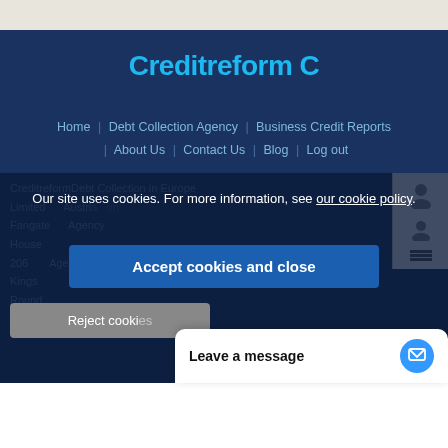[Figure (logo): Creditreform logo with blue text and C icon on dark navy background]
Home | Debt Collection Agency | Business Credit Reports | About Us | Contact Us | Blog | Log out
Creditreform Debt Collection in Europe
Limited Austria on Agency Fangate Agency House 206 Kings Round
Our site uses cookies. For more information, see our cookie policy.
Accept cookies and close
Reject cookies
Leave a message